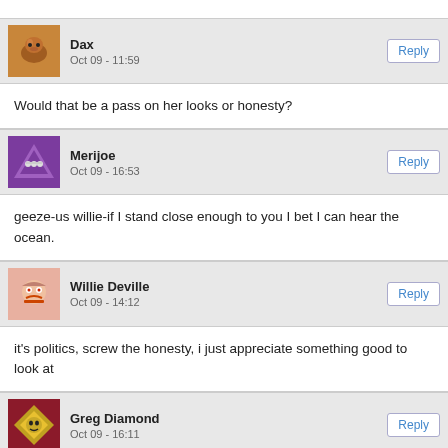Dax · Oct 09 - 11:59 · Would that be a pass on her looks or honesty?
Merijoe · Oct 09 - 16:53 · geeze-us willie-if I stand close enough to you I bet I can hear the ocean.
Willie Deville · Oct 09 - 14:12 · it's politics, screw the honesty, i just appreciate something good to look at
Greg Diamond · Oct 09 - 16:11 · Yuh pore depived chile! Get a copy of the Weekly and check the back pages. (Uh, better wait until Thursday.)